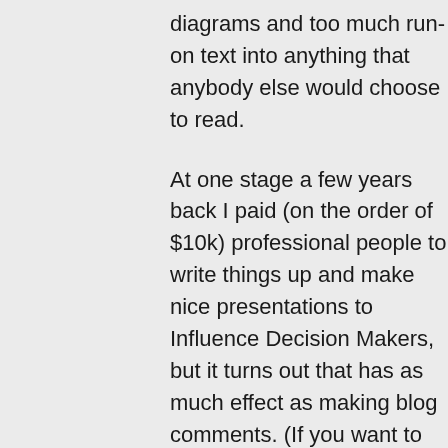diagrams and too much run-on text into anything that anybody else would choose to read.
At one stage a few years back I paid (on the order of $10k) professional people to write things up and make nice presentations to Influence Decision Makers, but it turns out that has as much effect as making blog comments. (If you want to change public policy, write a check for $1k to some dim-